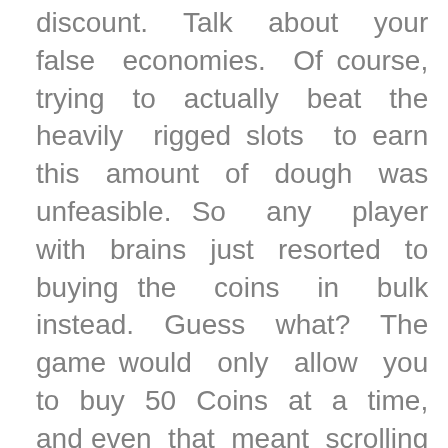discount. Talk about your false economies. Of course, trying to actually beat the heavily rigged slots to earn this amount of dough was unfeasible. So any player with brains just resorted to buying the coins in bulk instead. Guess what? The game would only allow you to buy 50 Coins at a time, and even that meant scrolling through a few lines of dialogue each time. If you didn't use the toxic Missingno glitch to farm Nuggets or other high-selling items, then you had to beat the Elite Four many, many times to stump up the cash. Having done either of those, you then finally purchase Porygon. And he turns out to be a pile of rubbish, despite some interesting moves. He later gained not one but two evolutions, and became a viable choice. But foolhardy players trying to get use out of Porygon in RBY might as well have been picking